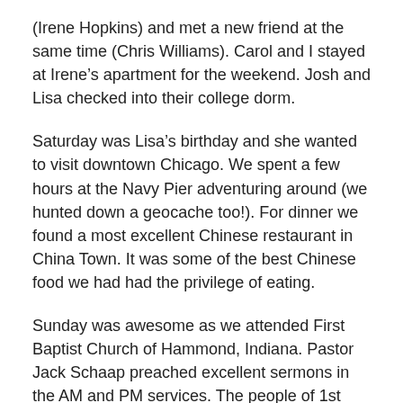(Irene Hopkins) and met a new friend at the same time (Chris Williams). Carol and I stayed at Irene’s apartment for the weekend. Josh and Lisa checked into their college dorm.
Saturday was Lisa’s birthday and she wanted to visit downtown Chicago. We spent a few hours at the Navy Pier adventuring around (we hunted down a geocache too!). For dinner we found a most excellent Chinese restaurant in China Town. It was some of the best Chinese food we had had the privilege of eating.
Sunday was awesome as we attended First Baptist Church of Hammond, Indiana. Pastor Jack Schaap preached excellent sermons in the AM and PM services. The people of 1st Baptist made us feel right at home. I thank them for that.